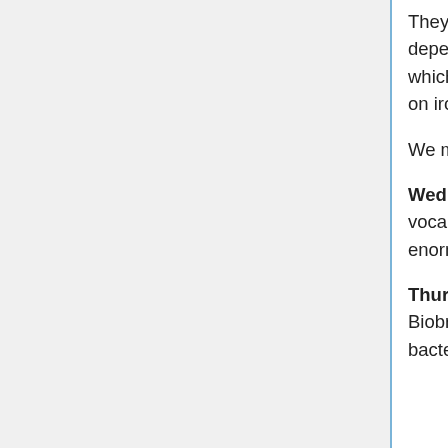They need to do this since one of the bacterium in the pair of the co-dependant bacteria is seen as harmful by the WBCs while the other one which produces histamine isn't seen as a foreign body. This bacteria lives on iron and feeds off the haemoglobin in the RBCs.
We made a poster for our bacteria.
Wednesday - we re-iterated our poster for our bacteria since it wasn't very vocal. This time I think it made more sense. This day we also made an enormous mind map which included everyone related to synthetic biology.
Thursday - We finished making our power point presentation on the Biobricks that would come into play to make the Samudra Manthan bacteria